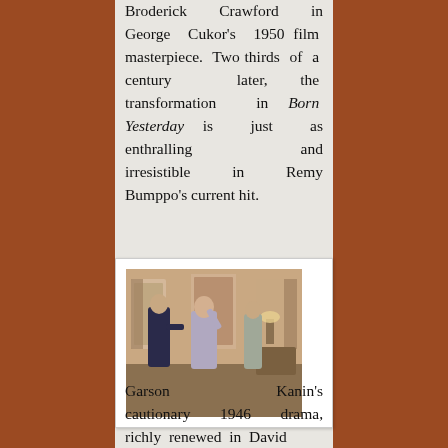Broderick Crawford in George Cukor's 1950 film masterpiece. Two thirds of a century later, the transformation in Born Yesterday is just as enthralling and irresistible in Remy Bumppo's current hit.
[Figure (photo): A theatrical scene with three actors on stage: a man in a dark suit on the left, a woman in a light gray outfit in the center gesturing, and another person partially visible on the right, with a stage set depicting a room interior.]
Garson Kanin's cautionary 1946 drama, richly renewed in David